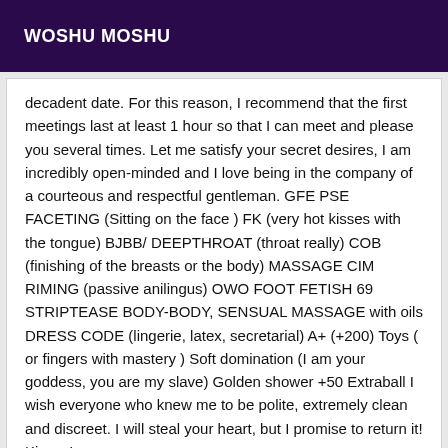WOSHU MOSHU
decadent date. For this reason, I recommend that the first meetings last at least 1 hour so that I can meet and please you several times. Let me satisfy your secret desires, I am incredibly open-minded and I love being in the company of a courteous and respectful gentleman. GFE PSE FACETING (Sitting on the face ) FK (very hot kisses with the tongue) BJBB/ DEEPTHROAT (throat really) COB (finishing of the breasts or the body) MASSAGE CIM RIMING (passive anilingus) OWO FOOT FETISH 69 STRIPTEASE BODY-BODY, SENSUAL MASSAGE with oils DRESS CODE (lingerie, latex, secretarial) A+ (+200) Toys ( or fingers with mastery ) Soft domination (I am your goddess, you are my slave) Golden shower +50 Extraball I wish everyone who knew me to be polite, extremely clean and discreet. I will steal your heart, but I promise to return it! Kisses!